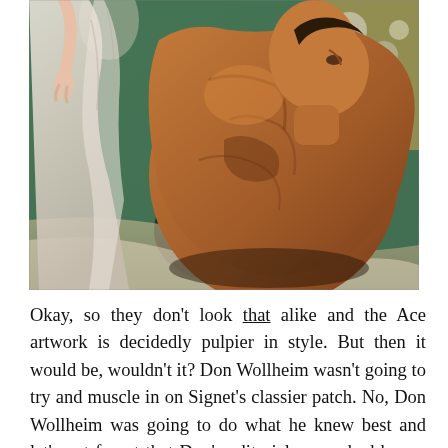[Figure (illustration): A vintage pulp-style painted illustration showing a shirtless muscular man with his back to the viewer, looking upward toward a woman in a flowing white gown or drape. The background includes green curtains and a floral pattern. The painting style is dramatic and realistic in a mid-20th century pulp art manner.]
Okay, so they don't look that alike and the Ace artwork is decidedly pulpier in style. But then it would be, wouldn't it? Don Wollheim wasn't going to try and muscle in on Signet's classier patch. No, Don Wollheim was going to do what he knew best and let's not forget that Don's editorial career had begun with Cosmic Stories